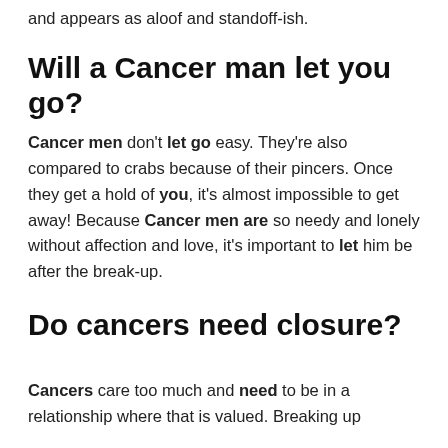and appears as aloof and standoff-ish.
Will a Cancer man let you go?
Cancer men don't let go easy. They're also compared to crabs because of their pincers. Once they get a hold of you, it's almost impossible to get away! Because Cancer men are so needy and lonely without affection and love, it's important to let him be after the break-up.
Do cancers need closure?
Cancers care too much and need to be in a relationship where that is valued. Breaking up from a reference it always would be...